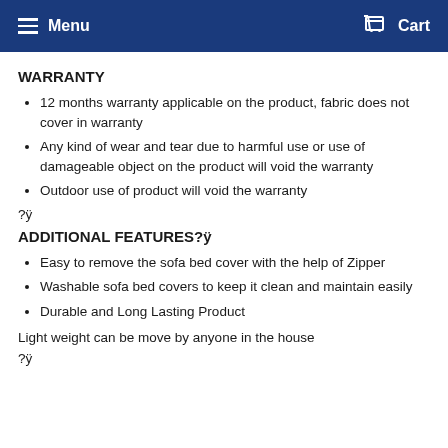Menu  Cart
WARRANTY
12 months warranty applicable on the product, fabric does not cover in warranty
Any kind of wear and tear due to harmful use or use of damageable object on the product will void the warranty
Outdoor use of product will void the warranty
?ÿ
ADDITIONAL FEATURES?ÿ
Easy to remove the sofa bed cover with the help of Zipper
Washable sofa bed covers to keep it clean and maintain easily
Durable and Long Lasting Product
Light weight can be move by anyone in the house
?ÿ